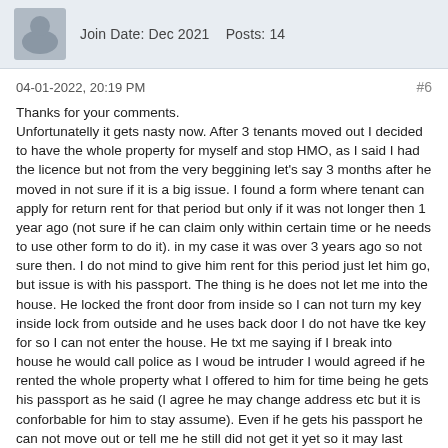Join Date: Dec 2021   Posts: 14
04-01-2022, 20:19 PM
#6
Thanks for your comments.
Unfortunatelly it gets nasty now. After 3 tenants moved out I decided to have the whole property for myself and stop HMO, as I said I had the licence but not from the very beggining let's say 3 months after he moved in not sure if it is a big issue. I found a form where tenant can apply for return rent for that period but only if it was not longer then 1 year ago (not sure if he can claim only within certain time or he needs to use other form to do it). in my case it was over 3 years ago so not sure then. I do not mind to give him rent for this period just let him go, but issue is with his passport. The thing is he does not let me into the house. He locked the front door from inside so I can not turn my key inside lock from outside and he uses back door I do not have tke key for so I can not enter the house. He txt me saying if I break into house he would call police as I woud be intruder I would agreed if he rented the whole property what I offered to him for time being he gets his passport as he said (I agree he may change address etc but it is conforbable for him to stay assume). Even if he gets his passport he can not move out or tell me he still did not get it yet so it may last long. How about if he will not get residency?